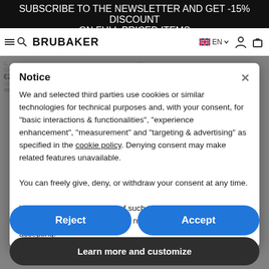SUBSCRIBE TO THE NEWSLETTER AND GET -15% DISCOUNT ON FULL PRICED ITEMS
[Figure (screenshot): Brubaker website navigation bar with logo, language selector (EN), user icon, and cart icon]
Notice
We and selected third parties use cookies or similar technologies for technical purposes and, with your consent, for "basic interactions & functionalities", "experience enhancement", "measurement" and "targeting & advertising" as specified in the cookie policy. Denying consent may make related features unavailable.
You can freely give, deny, or withdraw your consent at any time.
You can consent to the use of such technologies by using the "Accept" button. By closing this notice, you continue without accepting.
Reject
Accept
Learn more and customize